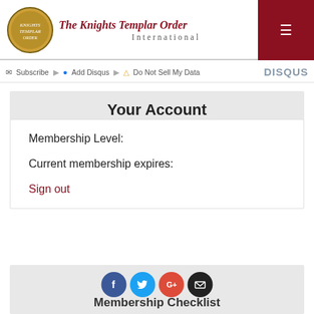The Knights Templar Order International
Subscribe  Add Disqus  Do Not Sell My Data  DISQUS
Your Account
Membership Level:
Current membership expires:
Sign out
Membership Checklist